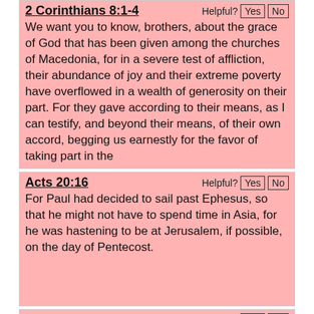2 Corinthians 8:1-4 Helpful? Yes No
We want you to know, brothers, about the grace of God that has been given among the churches of Macedonia, for in a severe test of affliction, their abundance of joy and their extreme poverty have overflowed in a wealth of generosity on their part. For they gave according to their means, as I can testify, and beyond their means, of their own accord, begging us earnestly for the favor of taking part in the
Acts 20:16 Helpful? Yes No
For Paul had decided to sail past Ephesus, so that he might not have to spend time in Asia, for he was hastening to be at Jerusalem, if possible, on the day of Pentecost.
Acts 11:29-30 Helpful? Yes No